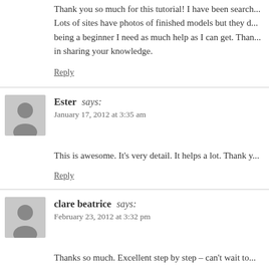Thank you so much for this tutorial! I have been search... Lots of sites have photos of finished models but they d... being a beginner I need as much help as I can get. Than... in sharing your knowledge.
Reply
Ester says:
January 17, 2012 at 3:35 am
This is awesome. It's very detail. It helps a lot. Thank y...
Reply
clare beatrice says:
February 23, 2012 at 3:32 pm
Thanks so much. Excellent step by step – can't wait to...